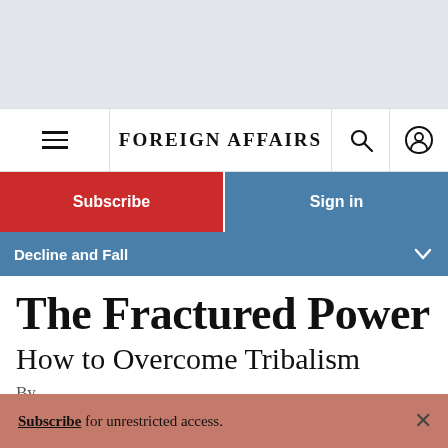FOREIGN AFFAIRS
Subscribe
Sign in
Decline and Fall
The Fractured Power
How to Overcome Tribalism
Subscribe for unrestricted access.